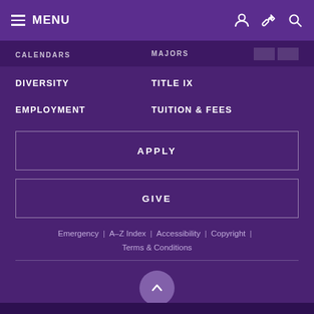MENU
CALENDARS
MAJORS
DIVERSITY
TITLE IX
EMPLOYMENT
TUITION & FEES
APPLY
GIVE
Emergency | A–Z Index | Accessibility | Copyright | Terms & Conditions